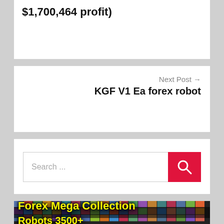$1,700,464 profit)
Next Post →
KGF V1 Ea forex robot
Search ...
[Figure (photo): Forex Mega Collection banner showing many product book covers with text 'Forex Mega Collection Robots 3500+']